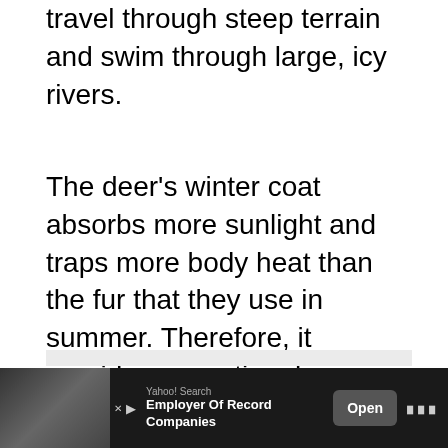travel through steep terrain and swim through large, icy rivers.
The deer's winter coat absorbs more sunlight and traps more body heat than the fur that they use in summer. Therefore, it provides exceptional protection against extreme temperatures.
[Figure (screenshot): A light gray rectangular box representing a content placeholder or advertisement area.]
Yahoo! Search — Employer Of Record Companies — Open